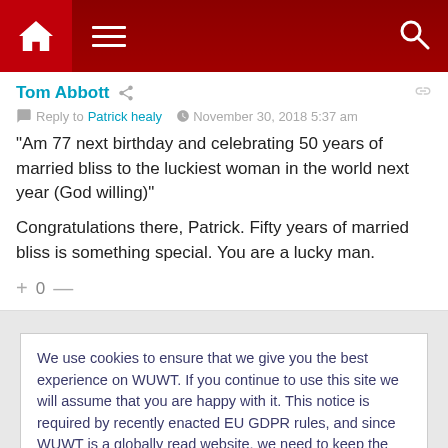[Figure (screenshot): Website navigation bar with dark red background showing home icon, hamburger menu, and search icon]
Tom Abbott  Reply to Patrick healy  November 30, 2018 5:37 am
"Am 77 next birthday and celebrating 50 years of married bliss to the luckiest woman in the world next year (God willing)"

Congratulations there, Patrick. Fifty years of married bliss is something special. You are a lucky man.
+ 0 —
We use cookies to ensure that we give you the best experience on WUWT. If you continue to use this site we will assume that you are happy with it. This notice is required by recently enacted EU GDPR rules, and since WUWT is a globally read website, we need to keep the bureaucrats off our case! Cookie Policy
Close and accept
+ 0 —